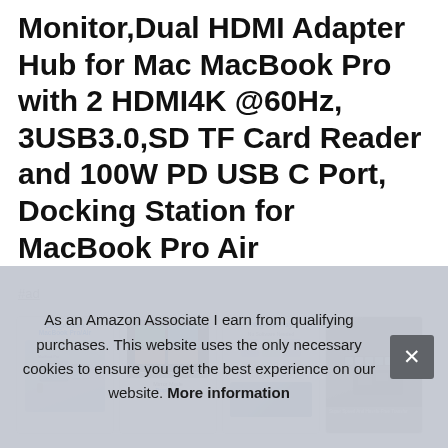Monitor,Dual HDMI Adapter Hub for Mac MacBook Pro with 2 HDMI4K @60Hz, 3USB3.0,SD TF Card Reader and 100W PD USB C Port, Docking Station for MacBook Pro Air
#ad
[Figure (photo): Row of four product images showing the USB-C hub/docking station for MacBook Pro Air: (1) designed for MacBook Pro/Air spec image, (2) dual monitor setup, (3) Plug and Play features, (4) close-up of the physical hub device]
MO
mor
mirror mode for mac os or extended mode and transfer vivid
As an Amazon Associate I earn from qualifying purchases. This website uses the only necessary cookies to ensure you get the best experience on our website. More information